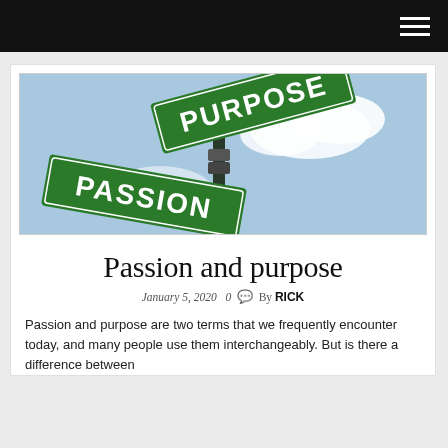[Figure (photo): Two green street signs crossed on a pole against a blue sky with clouds. The upper sign reads 'PURPOSE' and the lower sign reads 'PASSION'.]
Passion and purpose
January 5, 2020  0  By RICK
Passion and purpose are two terms that we frequently encounter today, and many people use them interchangeably. But is there a difference between